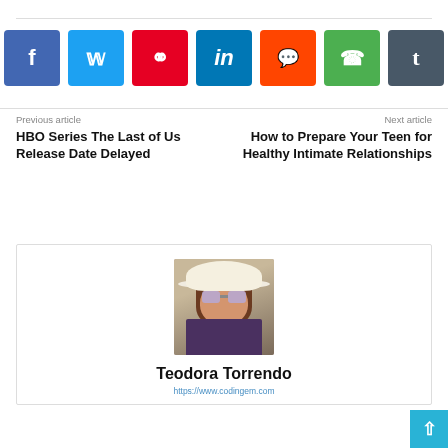[Figure (infographic): Social media share buttons: Facebook (blue), Twitter (light blue), Pinterest (red), LinkedIn (dark blue), Reddit (orange), WhatsApp (green), Tumblr (slate)]
Previous article
HBO Series The Last of Us Release Date Delayed
Next article
How to Prepare Your Teen for Healthy Intimate Relationships
[Figure (photo): Author photo: young woman wearing a white hat, purple sunglasses, and floral dress]
Teodora Torrendo
https://www.codingem.com